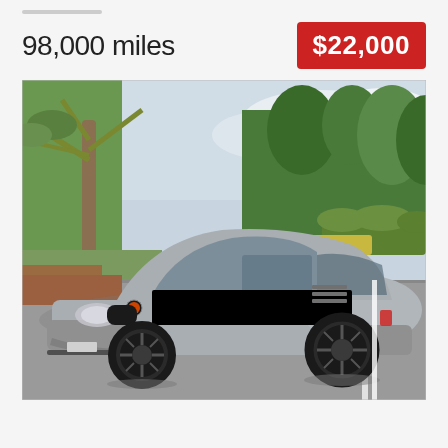98,000 miles
$22,000
[Figure (photo): Silver BMW Z3 M Coupe parked in a parking lot with trees and green hedges in the background. The car has dark aftermarket wheels and is photographed from a front three-quarter angle.]